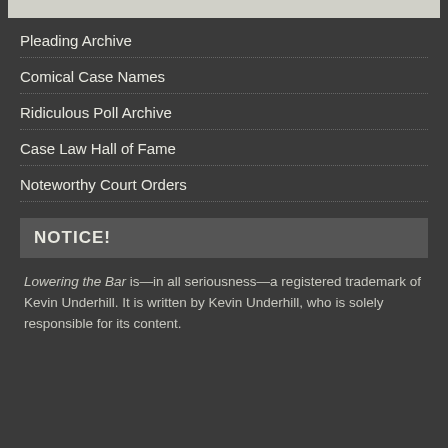Pleading Archive
Comical Case Names
Ridiculous Poll Archive
Case Law Hall of Fame
Noteworthy Court Orders
NOTICE!
Lowering the Bar is—in all seriousness—a registered trademark of Kevin Underhill. It is written by Kevin Underhill, who is solely responsible for its content.